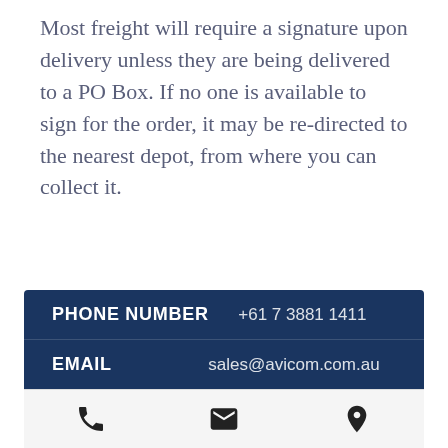Most freight will require a signature upon delivery unless they are being delivered to a PO Box. If no one is available to sign for the order, it may be re-directed to the nearest depot, from where you can collect it.
|  |  |
| --- | --- |
| PHONE NUMBER | +61 7 3881 1411 |
| EMAIL | sales@avicom.com.au |
| ADDRESS | Unit 1/11 Moonbi Street, Brendale, QLD, 4500 Australia |